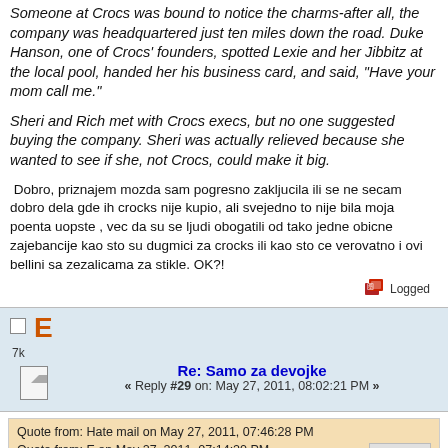Someone at Crocs was bound to notice the charms-after all, the company was headquartered just ten miles down the road. Duke Hanson, one of Crocs' founders, spotted Lexie and her Jibbitz at the local pool, handed her his business card, and said, "Have your mom call me."
Sheri and Rich met with Crocs execs, but no one suggested buying the company. Sheri was actually relieved because she wanted to see if she, not Crocs, could make it big.
Dobro, priznajem mozda sam pogresno zakljucila ili se ne secam dobro dela gde ih crocks nije kupio, ali svejedno to nije bila moja poenta uopste , vec da su se ljudi obogatili od tako jedne obicne zajebancije kao sto su dugmici za crocks ili kao sto ce verovatno i ovi bellini sa zezalicama za stikle. OK?!
Logged
E
7k
Re: Samo za devojke
« Reply #29 on: May 27, 2011, 08:02:21 PM »
Quote from: Hate mail on May 27, 2011, 07:46:28 PM
Quote from: E on May 27, 2011, 07:14:20 PM